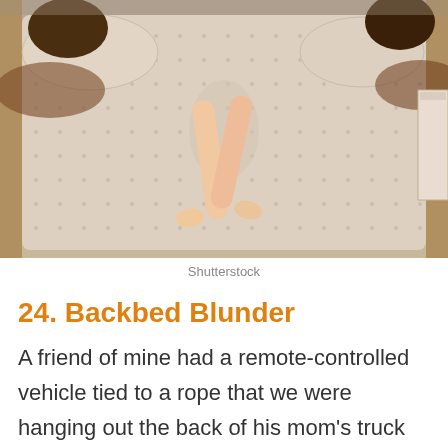[Figure (photo): Overhead view of people sleeping in a bed with polka-dot sheets and pillows, viewed from above. Two adults on the sides and a child in the middle with legs visible.]
Shutterstock
24. Backbed Blunder
A friend of mine had a remote-controlled vehicle tied to a rope that we were hanging out the back of his mom's truck while she drove. There were eight of us kids in the truck bed. A car went by as we